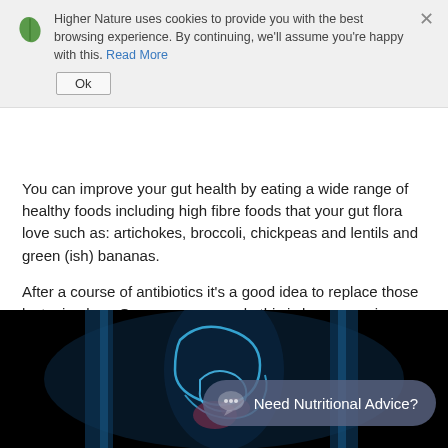particular antibiotics, stress and poor diet choices can play havoc in the gut bacteria imbalance include painful cramps, bloating, constipation and diarrhoea.
Higher Nature uses cookies to provide you with the best browsing experience. By continuing, we'll assume you're happy with this. Read More
You can improve your gut health by eating a wide range of healthy foods including high fibre foods that your gut flora love such as: artichokes, broccoli, chickpeas and lentils and green (ish) bananas.
After a course of antibiotics it’s a good idea to replace those lost microbes. One way you can do this is by consuming fermented foods such as: Live yoghurts, sauerkraut, kombucha and kimchi.
[Figure (photo): Medical illustration of human digestive system / gut shown as a glowing blue X-ray style image on black background, with a dark pill-shaped button overlay reading 'Need Nutritional Advice?']